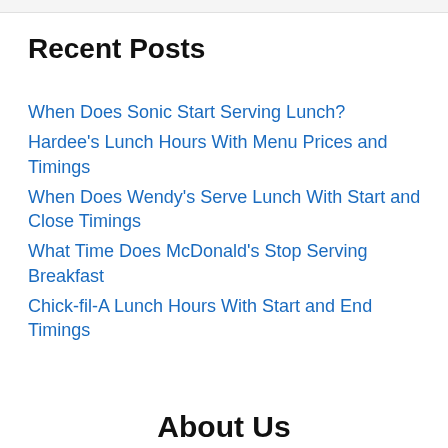Recent Posts
When Does Sonic Start Serving Lunch?
Hardee's Lunch Hours With Menu Prices and Timings
When Does Wendy's Serve Lunch With Start and Close Timings
What Time Does McDonald's Stop Serving Breakfast
Chick-fil-A Lunch Hours With Start and End Timings
About Us